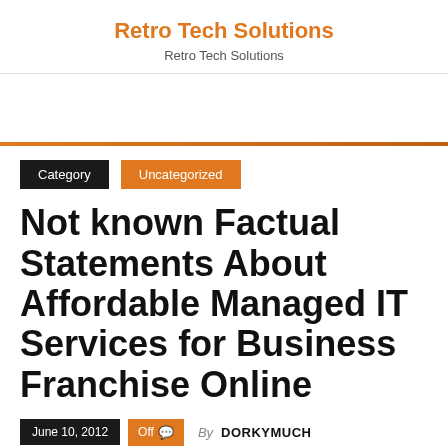Retro Tech Solutions
Retro Tech Solutions
Category  Uncategorized
Not known Factual Statements About Affordable Managed IT Services for Business Franchise Online
June 10, 2012  Off  By DORKYMUCH